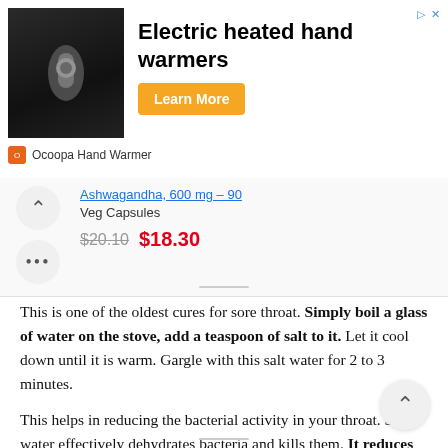[Figure (other): Advertisement banner for Ocoopa Electric heated hand warmers with product image, Learn More button, and brand logo]
Ashwagandha, 600 mg – 90 Veg Capsules
$20.10  $18.30
This is one of the oldest cures for sore throat. Simply boil a glass of water on the stove, add a teaspoon of salt to it. Let it cool down until it is warm. Gargle with this salt water for 2 to 3 minutes.
This helps in reducing the bacterial activity in your throat. Salt water effectively dehydrates bacteria and kills them. It reduces the redness and the mild pain associated with sore throat. You can gargle 2 to 3 times a day depending on the severity of the disease.